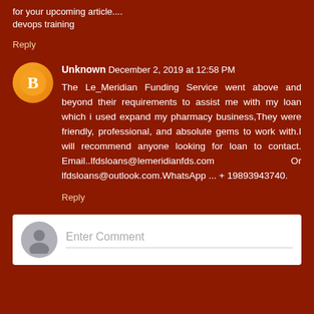for your upcoming article....
devops training
Reply
Unknown December 2, 2019 at 12:58 PM
The Le_Meridian Funding Service went above and beyond their requirements to assist me with my loan which i used expand my pharmacy business,They were friendly, professional, and absolute gems to work with.I will recommend anyone looking for loan to contact. Email..lfdsloans@lemeridianfds.com Or lfdsloans@outlook.com.WhatsApp ... + 19893943740.
Reply
Enter Comment